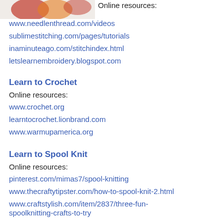[Figure (photo): Partial image of embroidery/craft materials (red and orange threads/loops visible) in top-left corner]
Online resources:
www.needlenthread.com/videos
sublimestitching.com/pages/tutorials
inaminuteago.com/stitchindex.html
letslearnembroidery.blogspot.com
Learn to Crochet
Online resources:
www.crochet.org
learntocrochet.lionbrand.com
www.warmupamerica.org
Learn to Spool Knit
Online resources:
pinterest.com/mimas7/spool-knitting
www.thecraftytipster.com/how-to-spool-knit-2.html
www.craftstylish.com/item/2837/three-fun-spoolknitting-crafts-to-try